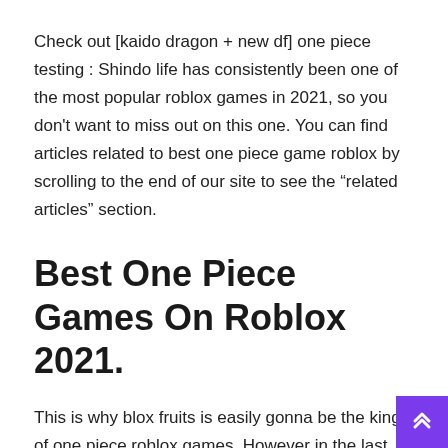Check out [kaido dragon + new df] one piece testing : Shindo life has consistently been one of the most popular roblox games in 2021, so you don't want to miss out on this one. You can find articles related to best one piece game roblox by scrolling to the end of our site to see the “related articles” section.
Best One Piece Games On Roblox 2021.
This is why blox fruits is easily gonna be the king of one piece roblox games. However in the last revamp the game really became the best one so far in roblox. Go the octopus selling from the food cart.